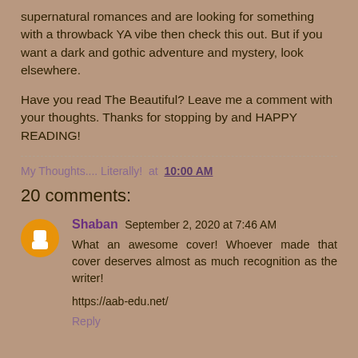supernatural romances and are looking for something with a throwback YA vibe then check this out. But if you want a dark and gothic adventure and mystery, look elsewhere.
Have you read The Beautiful? Leave me a comment with your thoughts. Thanks for stopping by and HAPPY READING!
My Thoughts.... Literally! at 10:00 AM
20 comments:
Shaban September 2, 2020 at 7:46 AM
What an awesome cover! Whoever made that cover deserves almost as much recognition as the writer!
https://aab-edu.net/
Reply